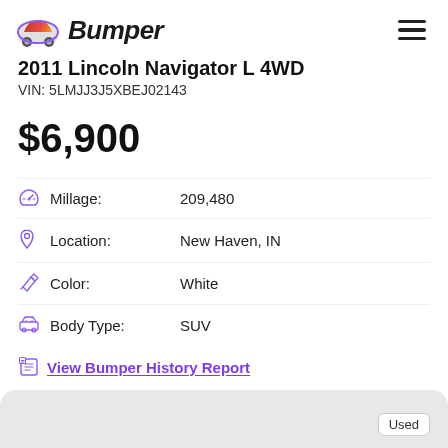Bumper
2011 Lincoln Navigator L 4WD
VIN: 5LMJJ3J5XBEJ02143
$6,900
Millage: 209,480
Location: New Haven, IN
Color: White
Body Type: SUV
View Bumper History Report
Check Availability
Used